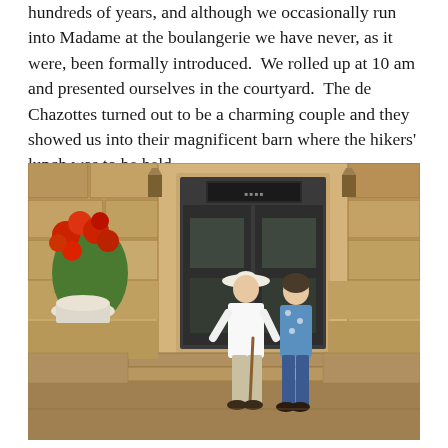hundreds of years, and although we occasionally run into Madame at the boulangerie we have never, as it were, been formally introduced.  We rolled up at 10 am and presented ourselves in the courtyard.  The de Chazottes turned out to be a charming couple and they showed us into their magnificent barn where the hikers' lunch was to be held.
[Figure (photo): An elderly couple standing in front of a rustic stone building with a dark wooden door. The man on the left wears a white hat and white shirt, holding a walking stick. The woman on the right wears a blue floral blouse and blue trousers. Red geraniums in a white pot are visible on the left side.]